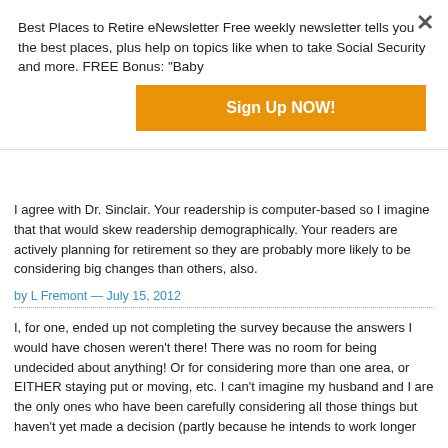Best Places to Retire eNewsletter Free weekly newsletter tells you the best places, plus help on topics like when to take Social Security and more. FREE Bonus: "Baby
Sign Up NOW!
I agree with Dr. Sinclair. Your readership is computer-based so I imagine that that would skew readership demographically. Your readers are actively planning for retirement so they are probably more likely to be considering big changes than others, also.
by L Fremont — July 15, 2012
I, for one, ended up not completing the survey because the answers I would have chosen weren't there! There was no room for being undecided about anything! Or for considering more than one area, or EITHER staying put or moving, etc. I can't imagine my husband and I are the only ones who have been carefully considering all those things but haven't yet made a decision (partly because he intends to work longer